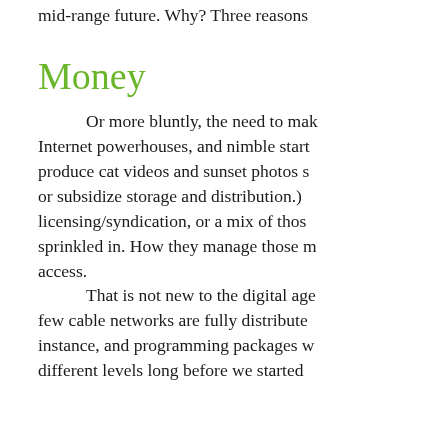mid-range future. Why? Three reasons
Money
Or more bluntly, the need to make money. Internet powerhouses, and nimble startups produce cat videos and sunset photos s or subsidize storage and distribution.) licensing/syndication, or a mix of those sprinkled in. How they manage those r access.
That is not new to the digital age few cable networks are fully distribute instance, and programming packages w different levels long before we started